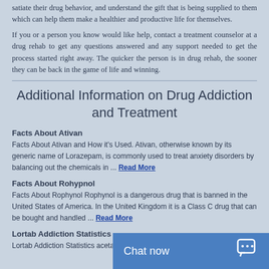satiate their drug behavior, and understand the gift that is being supplied to them which can help them make a healthier and productive life for themselves.
If you or a person you know would like help, contact a treatment counselor at a drug rehab to get any questions answered and any support needed to get the process started right away. The quicker the person is in drug rehab, the sooner they can be back in the game of life and winning.
Additional Information on Drug Addiction and Treatment
Facts About Ativan
Facts About Ativan and How it's Used. Ativan, otherwise known by its generic name of Lorazepam, is commonly used to treat anxiety disorders by balancing out the chemicals in ... Read More
Facts About Rohypnol
Facts About Rophynol Rophynol is a dangerous drug that is banned in the United States of America. In the United Kingdom it is a Class C drug that can be bought and handled ... Read More
Lortab Addiction Statistics
Lortab Addiction Statistics acetaminophen and hydro... a pain reliever for patients...